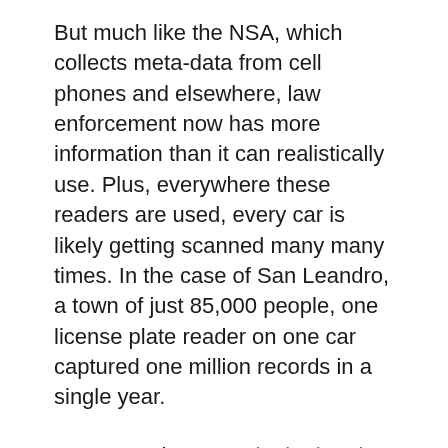But much like the NSA, which collects meta-data from cell phones and elsewhere, law enforcement now has more information than it can realistically use. Plus, everywhere these readers are used, every car is likely getting scanned many many times. In the case of San Leandro, a town of just 85,000 people, one license plate reader on one car captured one million records in a single year.
Last year, the ACLU looked at data from Maryland and found that out of 42 million scans, the hit rate was 0.2 percent. Take out minor violations like expired registrations, and the hit rate goes even lower: for every million plates read, 47 were flagged for possibly being a stolen car.
It’s hard to know how other states stack up, because there’s so much secrecy around the use of these readers.